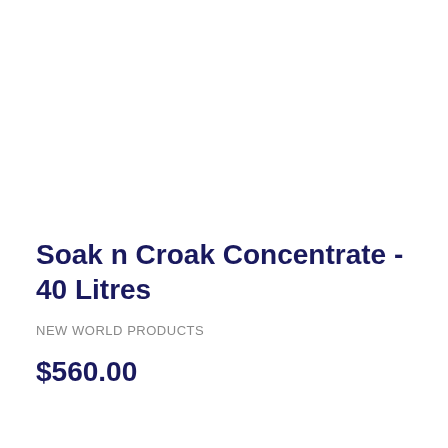Soak n Croak Concentrate - 40 Litres
NEW WORLD PRODUCTS
$560.00